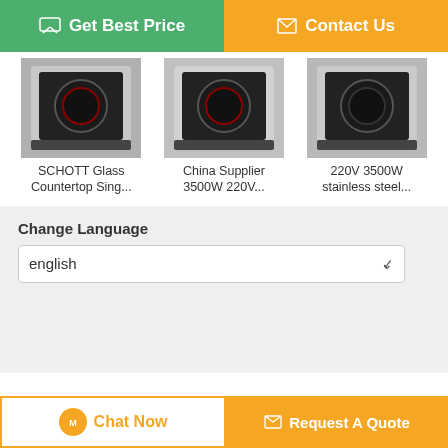[Figure (screenshot): Green 'Get Best Price' button and orange 'Contact Us' button at top]
[Figure (photo): SCHOTT Glass Countertop induction cooker product thumbnail]
SCHOTT Glass Countertop Sing...
[Figure (photo): China Supplier 3500W 220V induction cooker product thumbnail]
China Supplier 3500W 220V...
[Figure (photo): 220V 3500W stainless steel induction cooker product thumbnail]
220V 3500W stainless steel...
Change Language
english
Home | About Us | Contact Us
Desktop View
China Tabletop induction hob Supplier. Copyright © 2017 - 2022 induction-cooker.net. All rights reserved. Developed by ECER
[Figure (screenshot): Chat Now button and Request A Quote button at bottom]